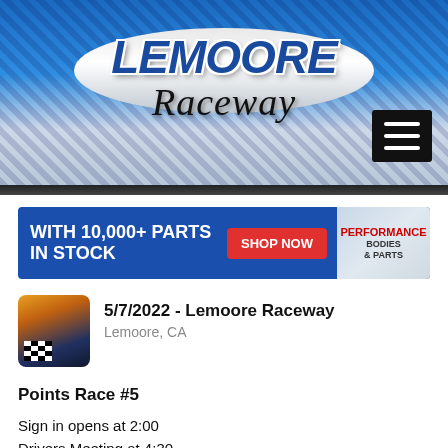[Figure (logo): Lemoore Raceway logo on blue header background with checkered flag pattern]
[Figure (screenshot): Hamburger menu icon (three horizontal lines) in black box]
[Figure (infographic): Advertisement banner: WITH 10,000+ PARTS IN STOCK, SHOP NOW button, Performance Bodies & Parts logo]
5/7/2022 - Lemoore Raceway
Lemoore, CA
Points Race #5
Sign in opens at 2:00
Drivers Meeting at 4:30
Grandstands open at 4:00